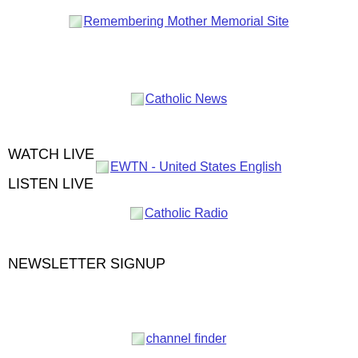[Figure (other): Link with image placeholder: Remembering Mother Memorial Site]
[Figure (other): Link with image placeholder: Catholic News]
WATCH LIVE
[Figure (other): Link with image placeholder: EWTN - United States English]
LISTEN LIVE
[Figure (other): Link with image placeholder: Catholic Radio]
NEWSLETTER SIGNUP
[Figure (other): Link with image placeholder: channel finder]